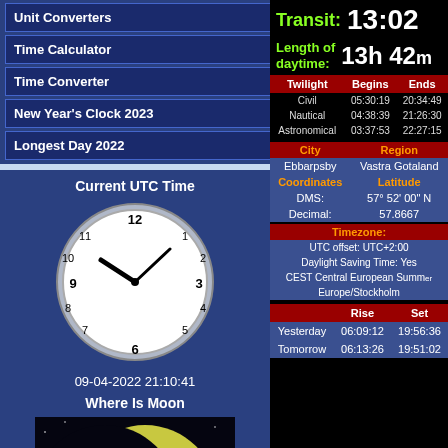Unit Converters
Time Calculator
Time Converter
New Year's Clock 2023
Longest Day 2022
Current UTC Time
[Figure (other): Analog clock showing approximately 9:10, date 09-04-2022 21:10:41]
09-04-2022 21:10:41
Where Is Moon
[Figure (photo): Moon phase image showing crescent moon with Earth visible]
Transit: 13:02
Length of daytime: 13h 42m
| Twilight | Begins | Ends |
| --- | --- | --- |
| Civil | 05:30:19 | 20:34:49 |
| Nautical | 04:38:39 | 21:26:30 |
| Astronomical | 03:37:53 | 22:27:15 |
| City | Region |
| --- | --- |
| Ebbarpsby | Vastra Gotaland |
| Coordinates | Latitude |
| DMS: | 57° 52' 00" N |
| Decimal: | 57.8667 |
Timezone: UTC offset: UTC+2:00 Daylight Saving Time: Yes CEST Central European Summer Europe/Stockholm
|  | Rise | Set |
| --- | --- | --- |
| Yesterday | 06:09:12 | 19:56:36 |
| Tomorrow | 06:13:26 | 19:51:02 |